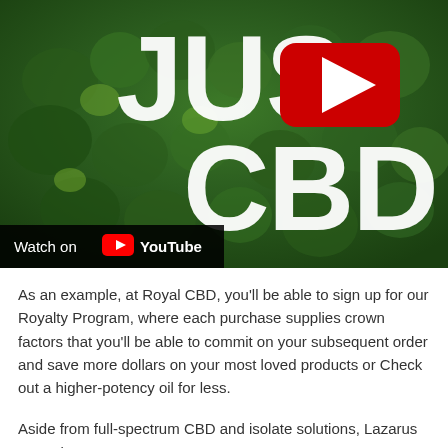[Figure (screenshot): YouTube video thumbnail showing aerial view of green forest canopy with large white text 'JUST CBD' and a YouTube play button overlay in the center. A 'Watch on YouTube' bar appears at the bottom left.]
As an example, at Royal CBD, you'll be able to sign up for our Royalty Program, where each purchase supplies crown factors that you'll be able to commit on your subsequent order and save more dollars on your most loved products or Check out a higher-potency oil for less.
Aside from full-spectrum CBD and isolate solutions, Lazarus naturals